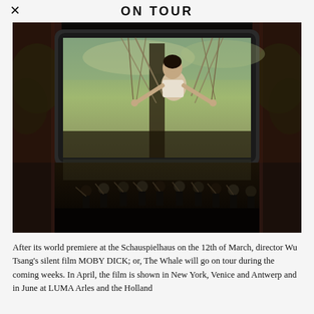ON TOUR
[Figure (photo): A darkened theater interior showing an orchestra performing in front of a large screen. The screen displays a person holding ropes against a dramatic sky backdrop. The theater has ornate architectural details visible on the sides.]
After its world premiere at the Schauspielhaus on the 12th of March, director Wu Tsang's silent film MOBY DICK; or, The Whale will go on tour during the coming weeks. In April, the film is shown in New York, Venice and Antwerp and in June at LUMA Arles and the Holland